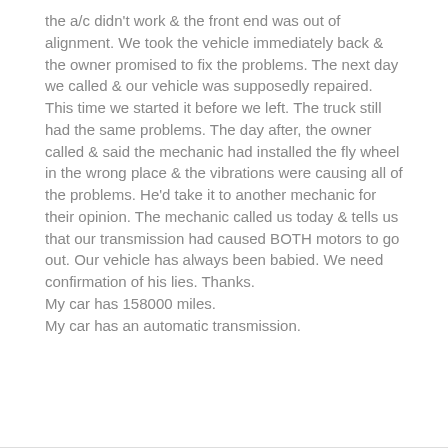the a/c didn't work & the front end was out of alignment. We took the vehicle immediately back & the owner promised to fix the problems. The next day we called & our vehicle was supposedly repaired. This time we started it before we left. The truck still had the same problems. The day after, the owner called & said the mechanic had installed the fly wheel in the wrong place & the vibrations were causing all of the problems. He'd take it to another mechanic for their opinion. The mechanic called us today & tells us that our transmission had caused BOTH motors to go out. Our vehicle has always been babied. We need confirmation of his lies. Thanks.
My car has 158000 miles.
My car has an automatic transmission.